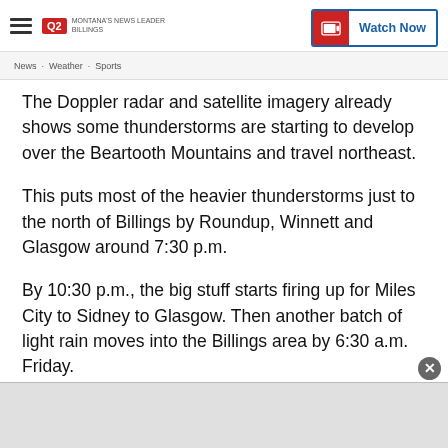Q2 Montana's News Leader Billings — Watch Now
The Doppler radar and satellite imagery already shows some thunderstorms are starting to develop over the Beartooth Mountains and travel northeast.
This puts most of the heavier thunderstorms just to the north of Billings by Roundup, Winnett and Glasgow around 7:30 p.m.
By 10:30 p.m., the big stuff starts firing up for Miles City to Sidney to Glasgow. Then another batch of light rain moves into the Billings area by 6:30 a.m. Friday.